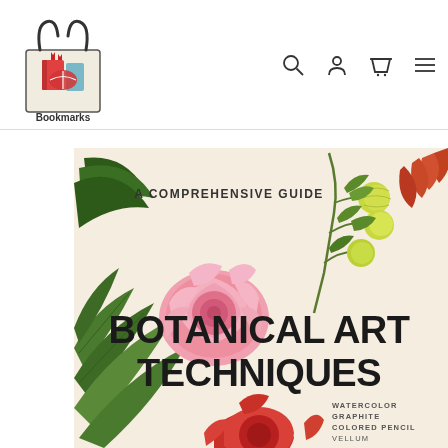[Figure (logo): Bookmarks bookstore logo: illustrated shopping bag with a red book and bookmark ribbons, with 'Bookmarks' text below]
[Figure (illustration): Website navigation header with search, account, cart, and menu icons on the right]
[Figure (photo): Book cover for 'Botanical Art Techniques: A Comprehensive Guide' showing botanical illustrations of a pink rose, green leaves, yellow-green fruits on a branch, and red rose at bottom. Lists techniques: Watercolor, Graphite, Colored Pencil, Vellum, Pen and Ink, Egg Tempera, Oils]